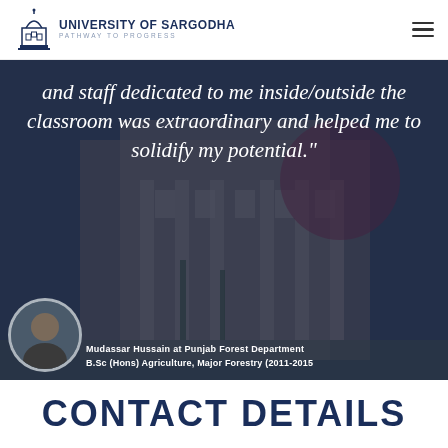[Figure (logo): University of Sargodha logo with building icon and text 'UNIVERSITY OF SARGODHA - PATHWAY TO PROGRESS']
[Figure (photo): Hero banner showing University of Sargodha building in background with dark overlay, featuring a quote and alumni photo]
and staff dedicated to me inside/outside the classroom was extraordinary and helped me to solidify my potential."
Mudassar Hussain at Punjab Forest Department
B.Sc (Hons) Agriculture, Major Forestry (2011-2015)
CONTACT DETAILS